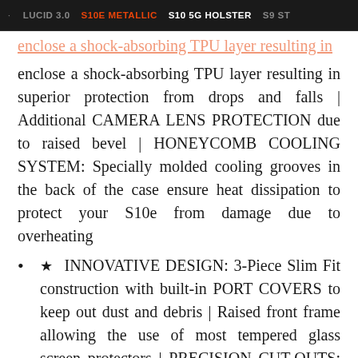LUCID 3.0  S10e METALLIC  S10 5G HOLSTER  S9 ST
enclose a shock-absorbing TPU layer resulting in superior protection from drops and falls | Additional CAMERA LENS PROTECTION due to raised bevel | HONEYCOMB COOLING SYSTEM: Specially molded cooling grooves in the back of the case ensure heat dissipation to protect your S10e from damage due to overheating
★ INNOVATIVE DESIGN: 3-Piece Slim Fit construction with built-in PORT COVERS to keep out dust and debris | Raised front frame allowing the use of most tempered glass screen protectors | PRECISION CUT-OUTS: Easy access to all buttons, ports & jacks |